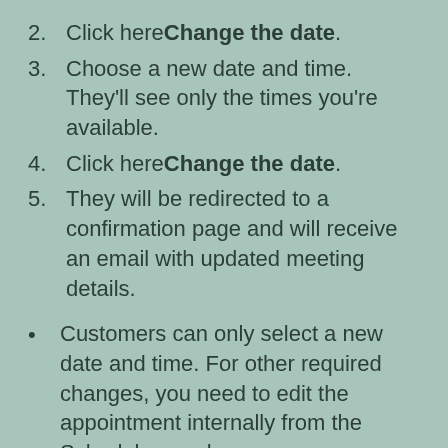2. Click here Change the date.
3. Choose a new date and time. They'll see only the times you're available.
4. Click here Change the date.
5. They will be redirected to a confirmation page and will receive an email with updated meeting details.
Customers can only select a new date and time. For other required changes, you need to edit the appointment internally from the Schedule panel.
Your scheduling limits control how close to an appointment your customers can